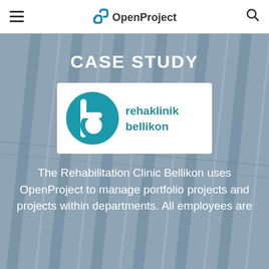OpenProject
CASE STUDY
[Figure (logo): Rehaklinik Bellikon logo — teal circle with a stylized 'b' lettermark on the left, and 'rehaklinik bellikon' text in teal on the right, on a white rounded rectangle background]
The Rehabilitation Clinic Bellikon uses OpenProject to manage portfolio projects and projects within departments. All employees are